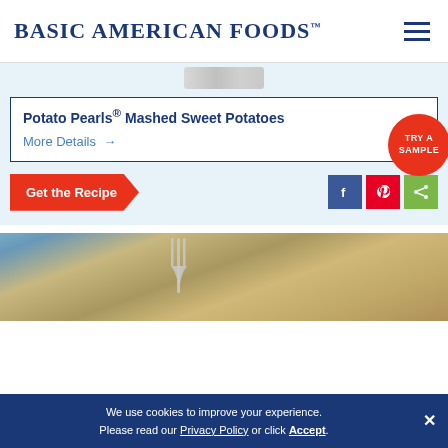Basic American Foods™
[Figure (photo): Partial product package image at top of card]
Potato Pearls® Mashed Sweet Potatoes
More Details →
Get the Recipe
TRY A SAMPLE
[Figure (illustration): Facebook, Pinterest, and share social media icons]
[Figure (photo): Food photography showing a fork with food on a plate, partially visible]
We use cookies to improve your experience. Please read our Privacy Policy or click Accept.